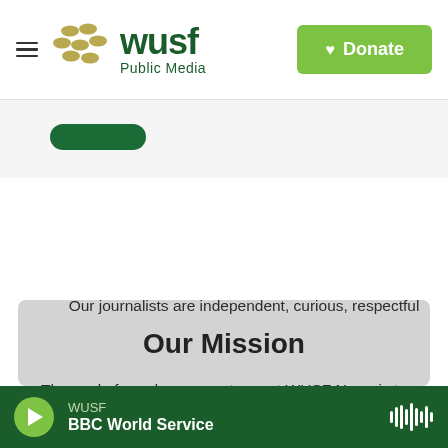[Figure (logo): WUSF Public Media logo with circular dot pattern and WUSF wordmark in green]
[Figure (screenshot): Green donate button with heart icon in top right of navigation bar]
[Figure (screenshot): Dark green rounded button below navigation bar]
Our Mission
The goal of our democracy team at WUSF News is to provide you with accurate, honest journalism to empower and inform you about voting and elections.
Our journalists are independent, curious, respectful
WUSF  BBC World Service